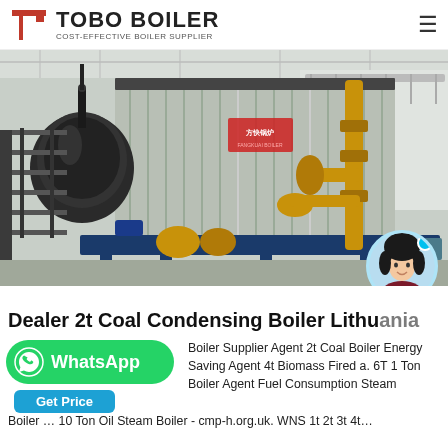TOBO BOILER — COST-EFFECTIVE BOILER SUPPLIER
[Figure (photo): Industrial coal/gas fired boiler in a factory warehouse, large silver corrugated body with a black cylindrical combustion chamber on the left, yellow gas pipes on the right, metal staircase on the left side, Chinese text sign visible on the boiler body.]
Dealer 2t Coal Condensing Boiler Lithuania
Boiler Supplier Agent 2t Coal Boiler Energy Saving Agent 4t Biomass Fired a. 6T 1 Ton Boiler Agent Fuel Consumption Steam Boiler … 10 Ton Oil Steam Boiler - cmp-h.org.uk. WNS 1t 2t 3t 4t…